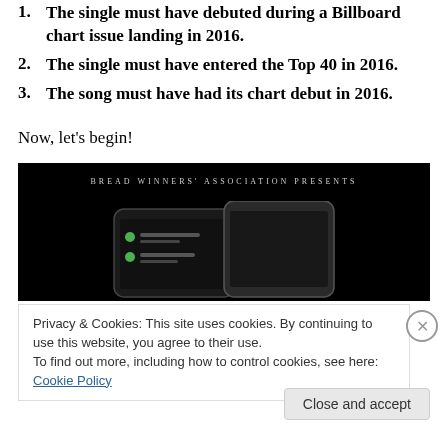1. The single must have debuted during a Billboard chart issue landing in 2016.
2. The single must have entered the Top 40 in 2016.
3. The song must have had its chart debut in 2016.
Now, let's begin!
[Figure (photo): Dark banner image with text 'BREAD WINNERS' ASSOCIATION PRESENTS' and smartphones showing notifications on a black background]
Privacy & Cookies: This site uses cookies. By continuing to use this website, you agree to their use.
To find out more, including how to control cookies, see here: Cookie Policy
Close and accept